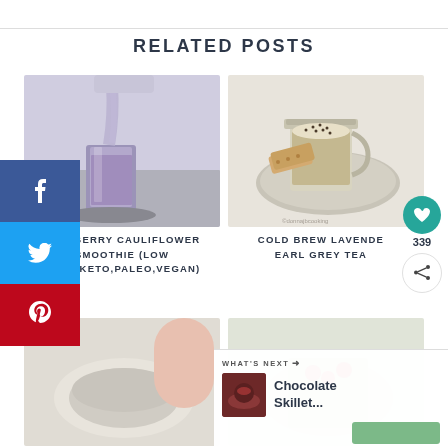RELATED POSTS
[Figure (photo): Blueberry cauliflower smoothie being poured into a glass on a dark coaster]
[Figure (photo): Cold brew lavender earl grey tea latte in a glass mason jar on a plate with shortbread cookies]
BLUEBERRY CAULIFLOWER SMOOTHIE (LOW CARB,KETO,PALEO,VEGAN)
COLD BREW LAVENDER EARL GREY TEA
[Figure (photo): Bottom left food photo partially visible]
[Figure (photo): Bottom right food photo partially visible]
WHAT'S NEXT → Chocolate Skillet...